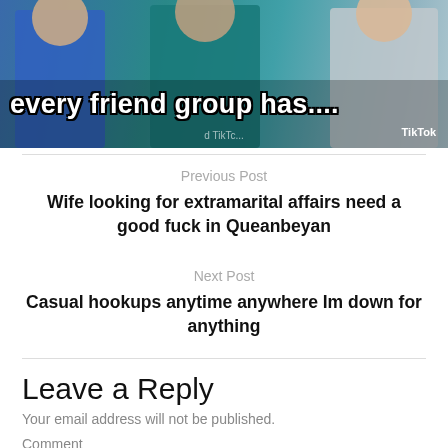[Figure (screenshot): TikTok video thumbnail showing people in colored jackets with text overlay 'every friend group has....' and TikTok watermark]
Previous Post
Wife looking for extramarital affairs need a good fuck in Queanbeyan
Next Post
Casual hookups anytime anywhere Im down for anything
Leave a Reply
Your email address will not be published.
Comment